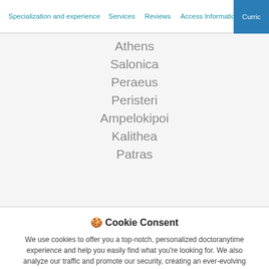Specialization and experience | Services | Reviews | Access Information | Curric…
Athens
Salonica
Peraeus
Peristeri
Ampelokipoi
Kalithea
Patras
🍪 Cookie Consent
We use cookies to offer you a top-notch, personalized doctoranytime experience and help you easily find what you're looking for. We also analyze our traffic and promote our security, creating an ever-evolving environment for you to enjoy our services.
No, customize settings | Yes, accept cookies